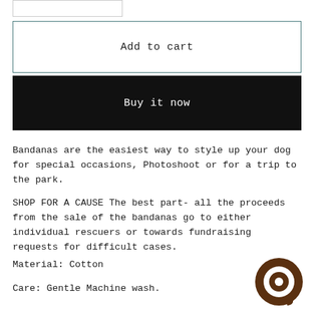[Figure (other): Small input/text box (partial, at top of page)]
Add to cart
Buy it now
Bandanas are the easiest way to style up your dog for special occasions, Photoshoot or for a trip to the park.
SHOP FOR A CAUSE The best part- all the proceeds from the sale of the bandanas go to either individual rescuers or towards fundraising requests for difficult cases.
Material: Cotton
Care: Gentle Machine wash.
[Figure (logo): Brown circular chat/messenger icon in the bottom right corner]